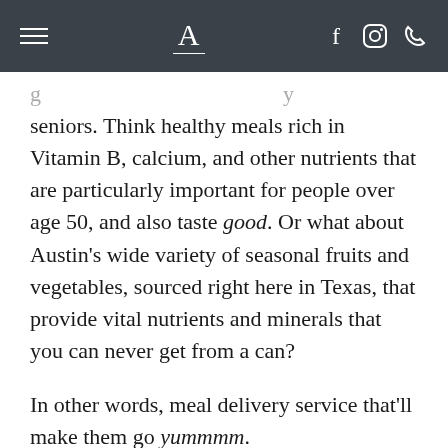A
seniors. Think healthy meals rich in Vitamin B, calcium, and other nutrients that are particularly important for people over age 50, and also taste good. Or what about Austin’s wide variety of seasonal fruits and vegetables, sourced right here in Texas, that provide vital nutrients and minerals that you can never get from a can?
In other words, meal delivery service that’ll make them go yummmm.